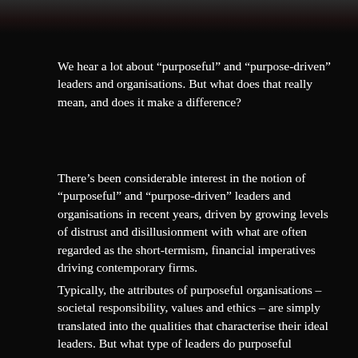[Figure (photo): Dark image strip at top of page showing partial view of a person or scene, very dark toned]
We hear a lot about “purposeful” and “purpose-driven” leaders and organisations. But what does that really mean, and does it make a difference?
There’s been considerable interest in the notion of “purposeful” and “purpose-driven” leaders and organisations in recent years, driven by growing levels of distrust and disillusionment with what are often regarded as the short-termism, financial imperatives driving contemporary firms.
Typically, the attributes of purposeful organisations – societal responsibility, values and ethics – are simply translated into the qualities that characterise their ideal leaders. But what type of leaders do purposeful organisations really need?